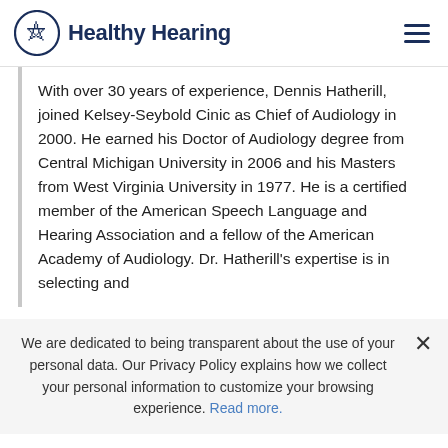Healthy Hearing
With over 30 years of experience, Dennis Hatherill, joined Kelsey-Seybold Cinic as Chief of Audiology in 2000. He earned his Doctor of Audiology degree from Central Michigan University in 2006 and his Masters from West Virginia University in 1977. He is a certified member of the American Speech Language and Hearing Association and a fellow of the American Academy of Audiology. Dr. Hatherill's expertise is in selecting and
We are dedicated to being transparent about the use of your personal data. Our Privacy Policy explains how we collect your personal information to customize your browsing experience. Read more.
(713) 481-6027